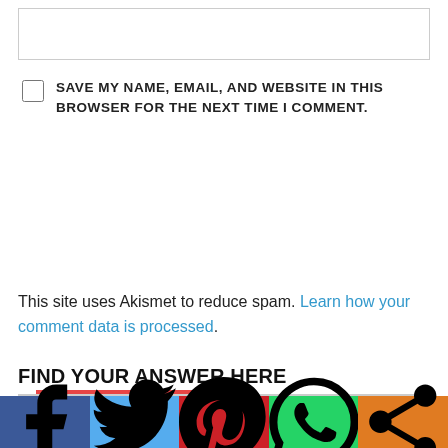[Figure (screenshot): Text input box (empty, with border)]
SAVE MY NAME, EMAIL, AND WEBSITE IN THIS BROWSER FOR THE NEXT TIME I COMMENT.
POST COMMENT
This site uses Akismet to reduce spam. Learn how your comment data is processed.
FIND YOUR ANSWER HERE
Search ...
[Figure (screenshot): Social sharing bar with Facebook, Twitter, Pinterest, WhatsApp, and Share buttons]